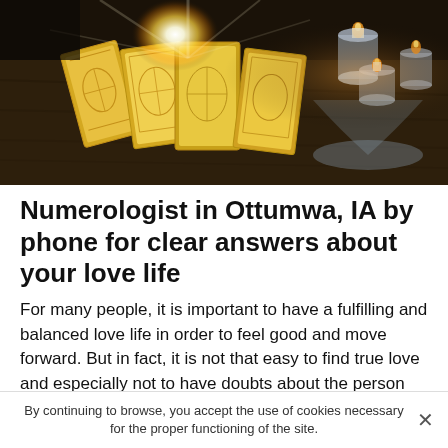[Figure (photo): Tarot cards spread on a wooden table with a bright light glowing from the center, and glass candle holders with lit candles on the right side.]
Numerologist in Ottumwa, IA by phone for clear answers about your love life
For many people, it is important to have a fulfilling and balanced love life in order to feel good and move forward. But in fact, it is not that easy to find true love and especially not to have doubts about the person with whom you share your life. Every day I have people who contact my numerology office in Ottumwa by phone to get answers to various questions that are sentimental, I take the time to
By continuing to browse, you accept the use of cookies necessary for the proper functioning of the site.